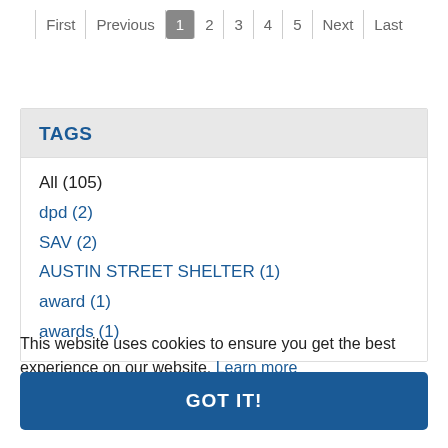First  Previous  1  2  3  4  5  Next  Last
TAGS
All (105)
dpd (2)
SAV (2)
AUSTIN STREET SHELTER (1)
award (1)
awards (1)
This website uses cookies to ensure you get the best experience on our website. Learn more
GOT IT!